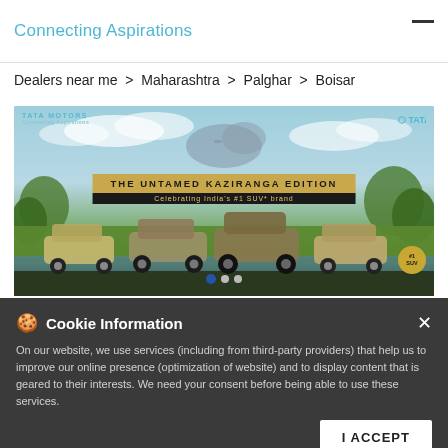Connecting Aspirations
Dealers near me > Maharashtra > Palghar > Boisar
[Figure (photo): Tata Motors advertisement banner for The Untamed Kaziranga Edition SUVs, showing multiple SUV models in a nature setting with a rhino in the background. Text reads: THE UNTAMED KAZIRANGA EDITION, Celebrating India's #1 SUV* brand]
Tata Motors Cars Showroom
Indent Cars, Boisar
| Field | : | Value |
| --- | --- | --- |
| Address* | : | Plot No 223
Boisar
Palghar - 401501 |
| Landmark | : | Next to Mahindra Showroom |
Cookie Information

On our website, we use services (including from third-party providers) that help us to improve our online presence (optimization of website) and to display content that is geared to their interests. We need your consent before being able to use these services.